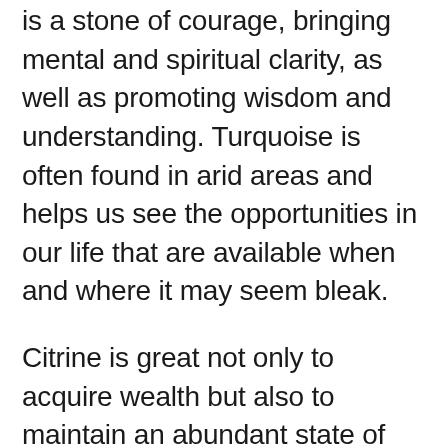is a stone of courage, bringing mental and spiritual clarity, as well as promoting wisdom and understanding. Turquoise is often found in arid areas and helps us see the opportunities in our life that are available when and where it may seem bleak.
Citrine is great not only to acquire wealth but also to maintain an abundant state of mind. It is a gemstone that activates creativity, intelligent decisiveness, personal power, optimism, and more which all help you to find and create opportunities.
There are often dynamics of self-sabotage when it comes to money. Sometimes because you unconsciously (or consciously) believe that you